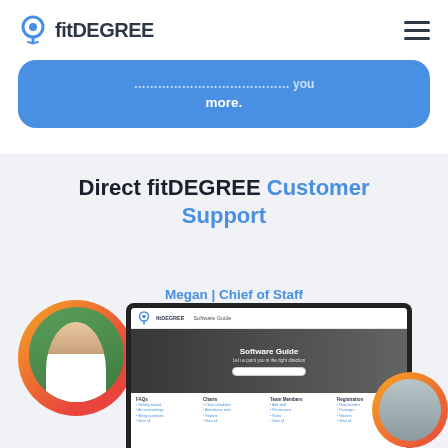fitDEGREE
more.
Direct fitDEGREE Customer Support
Megan | Chief of Staff
[Figure (screenshot): Screenshot of fitDEGREE Software Guide page showing navigation, hero image, search bar, and link columns]